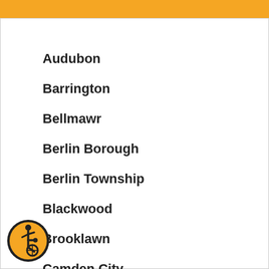Audubon
Barrington
Bellmawr
Berlin Borough
Berlin Township
Blackwood
Brooklawn
Camden City
Cherry Hill
Chesilhurst
Clementon
[Figure (illustration): Accessibility icon — person in wheelchair, orange circle with dark border]